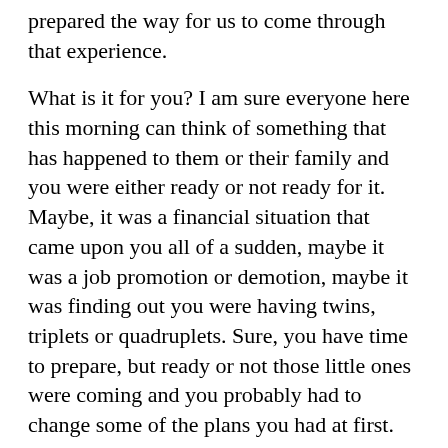prepared the way for us to come through that experience.
What is it for you? I am sure everyone here this morning can think of something that has happened to them or their family and you were either ready or not ready for it. Maybe, it was a financial situation that came upon you all of a sudden, maybe it was a job promotion or demotion, maybe it was finding out you were having twins, triplets or quadruplets. Sure, you have time to prepare, but ready or not those little ones were coming and you probably had to change some of the plans you had at first. Maybe it was a diagnosis, disease or illness or maybe it was a death in the family that was unexpected.
This morning we are going to be looking at two passages that you may not think are